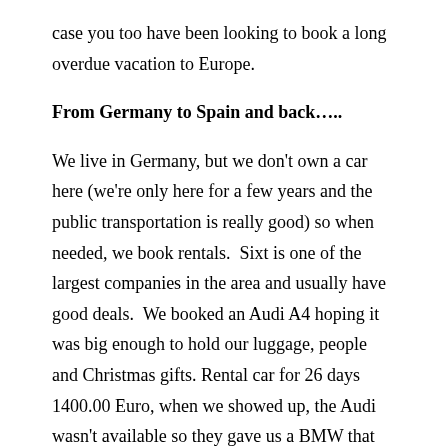case you too have been looking to book a long overdue vacation to Europe.
From Germany to Spain and back…..
We live in Germany, but we don't own a car here (we're only here for a few years and the public transportation is really good) so when needed, we book rentals.  Sixt is one of the largest companies in the area and usually have good deals.  We booked an Audi A4 hoping it was big enough to hold our luggage, people and Christmas gifts. Rental car for 26 days 1400.00 Euro, when we showed up, the Audi wasn't available so they gave us a BMW that was the same size.
Like most adventures in life, we hit a few bumps before